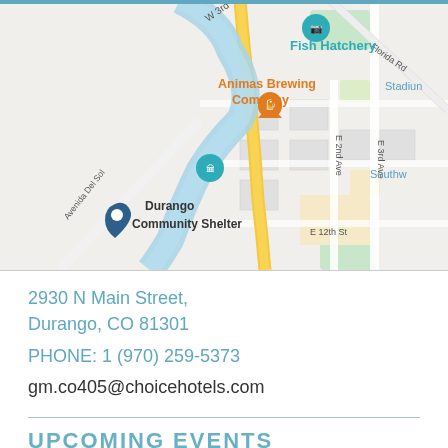[Figure (map): Google Maps view of Durango, CO showing Fish Hatchery, Animas Brewing Company, Durango Community Shelter, E 2nd Ave, E 3rd Ave, E 12th St, W 3rd, Avenida Del Sol, Florida Rd, and Stadium area with Animas River running through.]
2930 N Main Street,
Durango, CO 81301
PHONE: 1 (970) 259-5373
gm.co405@choicehotels.com
UPCOMING EVENTS
No upcoming events.